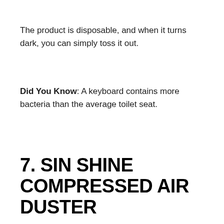The product is disposable, and when it turns dark, you can simply toss it out.
Did You Know: A keyboard contains more bacteria than the average toilet seat.
7. SIN SHINE COMPRESSED AIR DUSTER
[Figure (other): Purple gradient banner bar at the bottom of the page, transitioning from lighter purple on the left to dark purple/indigo on the right, with a light lavender background below it and a close (X) button overlay.]